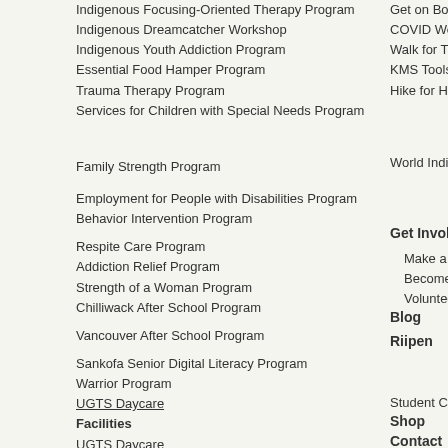Indigenous Focusing-Oriented Therapy Program
Indigenous Dreamcatcher Workshop
Indigenous Youth Addiction Program
Essential Food Hamper Program
Trauma Therapy Program
Services for Children with Special Needs Program
Get on Board Ga
COVID Worksho
Walk for Trauma
KMS Tools Fund
Hike for Healing
World Indigeno
Family Strength Program
Employment for People with Disabilities Program
Behavior Intervention Program
Get Involved
Respite Care Program
Addiction Relief Program
Strength of a Woman Program
Chilliwack After School Program
Make a Donation
Become an Ally
Volunteer Your T
Blog
Vancouver After School Program
Riipen
Sankofa Senior Digital Literacy Program
Warrior Program
UGTS Daycare
Student Corner
Facilities
Shop
UGTS Daycare
Contact
Yellowhead Tribal College